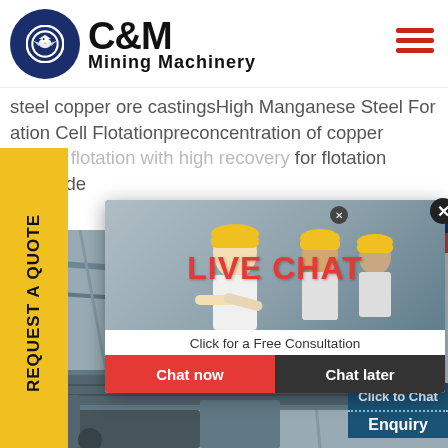[Figure (logo): C&M Mining Machinery logo with eagle emblem in circular gear badge and bold text]
steel copper ore castingsHigh Manganese Steel For ation Cell Flotationpreconcentration of copper iron by flotation with high recovery for flotation per oxide
[Figure (infographic): Live Chat popup overlay with workers in hard hats, LIVE CHAT heading in red, Click for a Free Consultation, Chat now and Chat later buttons]
[Figure (photo): Industrial mining conveyor and machinery facility interior background image]
[Figure (infographic): Right sidebar showing Hours Online panel and headset customer service representative with Click to Chat button and Enquiry section]